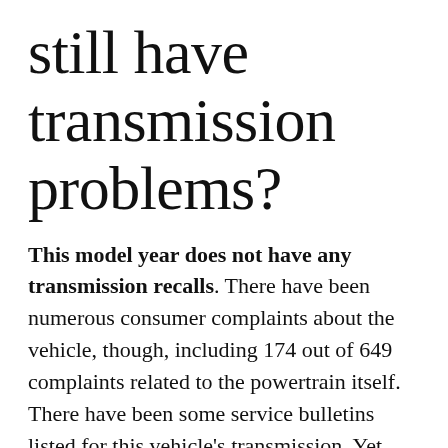still have transmission problems?
This model year does not have any transmission recalls. There have been numerous consumer complaints about the vehicle, though, including 174 out of 649 complaints related to the powertrain itself. There have been some service bulletins listed for this vehicle's transmission. Yet, even those are few.
Which is bigger